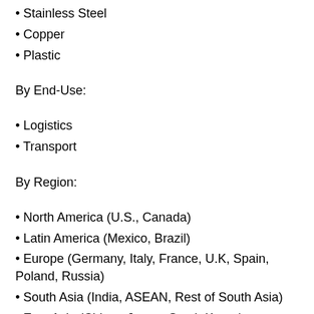• Stainless Steel
• Copper
• Plastic
By End-Use:
• Logistics
• Transport
By Region:
• North America (U.S., Canada)
• Latin America (Mexico, Brazil)
• Europe (Germany, Italy, France, U.K, Spain, Poland, Russia)
• South Asia (India, ASEAN, Rest of South Asia)
• East Asia (China , Japan, South Korea)
• Middle East and Africa (GCC Countries, South Africa,